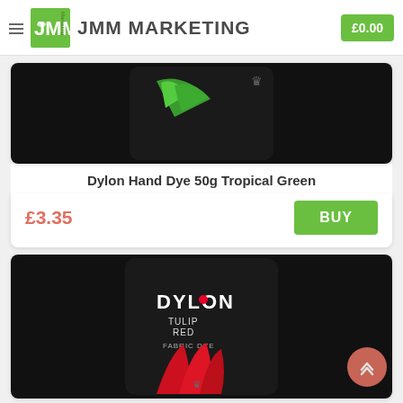JMM MARKETING  £0.00
[Figure (photo): Dylon Hand Dye 50g Tropical Green product package on black background with green fern leaf graphic]
Dylon Hand Dye 50g Tropical Green
£3.35
BUY
[Figure (photo): Dylon Tulip Red Fabric Dye product package on black background with red tulip graphic]